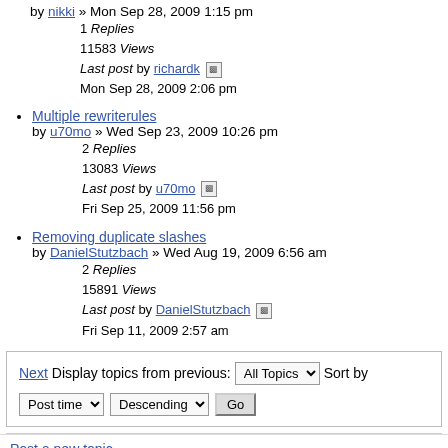by nikki » Mon Sep 28, 2009 1:15 pm
1 Replies
11583 Views
Last post by richardk Mon Sep 28, 2009 2:06 pm
Multiple rewriterules by u70mo » Wed Sep 23, 2009 10:26 pm
2 Replies
13083 Views
Last post by u70mo Fri Sep 25, 2009 11:56 pm
Removing duplicate slashes by DanielStutzbach » Wed Aug 19, 2009 6:56 am
2 Replies
15891 Views
Last post by DanielStutzbach Fri Sep 11, 2009 2:57 am
Next Display topics from previous: All Topics Sort by Post time Descending Go
Post a new topic